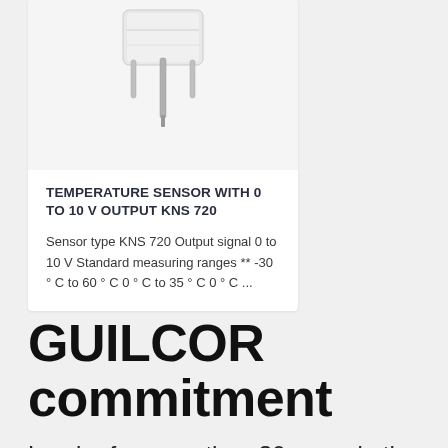[Figure (photo): Temperature sensor KNS 720 product photo showing a white sensor body with metal probe/rod extending downward]
TEMPERATURE SENSOR WITH 0 to 10 V OUTPUT KNS 720
Sensor type KNS 720 Output signal 0 to 10 V Standard measuring ranges ** -30 ° C to 60 ° C 0 ° C to 35 ° C 0 ° C ...
GUILCOR commitment
Leader for more than 30 years in the design, manufacture and distribution of measuring